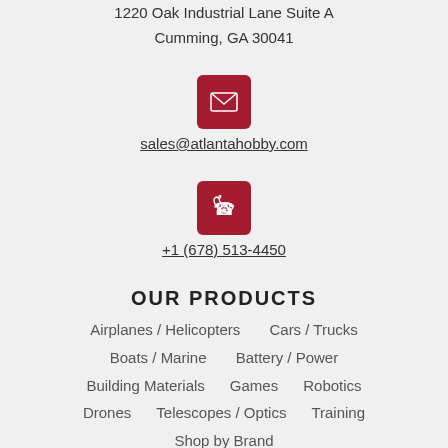1220 Oak Industrial Lane Suite A
Cumming, GA 30041
[Figure (other): Red square icon with white envelope symbol]
sales@atlantahobby.com
[Figure (other): Red square icon with white telephone symbol]
+1 (678) 513-4450
OUR PRODUCTS
Airplanes / Helicopters
Cars / Trucks
Boats / Marine
Battery / Power
Building Materials
Games
Robotics
Drones
Telescopes / Optics
Training
Shop by Brand